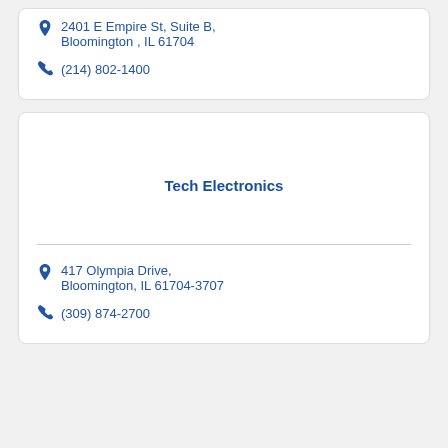2401 E Empire St, Suite B, Bloomington , IL 61704
(214) 802-1400
Tech Electronics
417 Olympia Drive, Bloomington, IL 61704-3707
(309) 874-2700